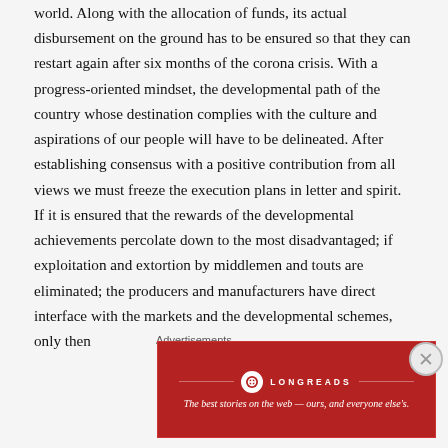world. Along with the allocation of funds, its actual disbursement on the ground has to be ensured so that they can restart again after six months of the corona crisis. With a progress-oriented mindset, the developmental path of the country whose destination complies with the culture and aspirations of our people will have to be delineated. After establishing consensus with a positive contribution from all views we must freeze the execution plans in letter and spirit. If it is ensured that the rewards of the developmental achievements percolate down to the most disadvantaged; if exploitation and extortion by middlemen and touts are eliminated; the producers and manufacturers have direct interface with the markets and the developmental schemes, only then
Advertisements
[Figure (other): Longreads advertisement banner: red background, Longreads logo and name, tagline 'The best stories on the web — ours, and everyone else's.']